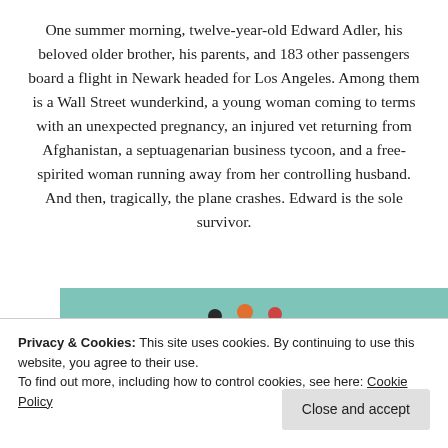One summer morning, twelve-year-old Edward Adler, his beloved older brother, his parents, and 183 other passengers board a flight in Newark headed for Los Angeles. Among them is a Wall Street wunderkind, a young woman coming to terms with an unexpected pregnancy, an injured vet returning from Afghanistan, a septuagenarian business tycoon, and a free-spirited woman running away from her controlling husband. And then, tragically, the plane crashes. Edward is the sole survivor.
[Figure (illustration): Book cover illustration showing figures against a teal/green background, with a red shape at the bottom]
Privacy & Cookies: This site uses cookies. By continuing to use this website, you agree to their use.
To find out more, including how to control cookies, see here: Cookie Policy